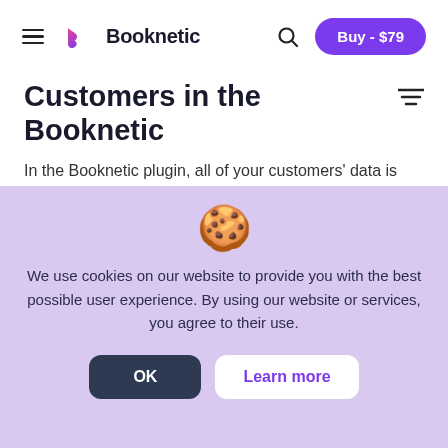Booknetic — Buy - $79
Customers in the Booknetic
In the Booknetic plugin, all of your customers' data is
[Figure (other): Cookie consent overlay with cookie emoji, text and two buttons (OK, Learn more)]
We use cookies on our website to provide you with the best possible user experience. By using our website or services, you agree to their use.